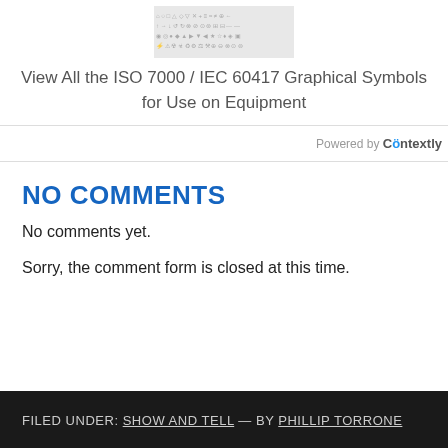[Figure (illustration): Grid of ISO 7000 / IEC 60417 graphical symbols shown as small icons]
View All the ISO 7000 / IEC 60417 Graphical Symbols for Use on Equipment
Powered by Contextly
NO COMMENTS
No comments yet.
Sorry, the comment form is closed at this time.
FILED UNDER: SHOW AND TELL — BY PHILLIP TORRONE